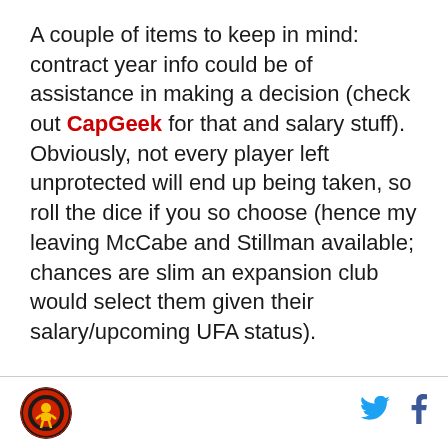A couple of items to keep in mind: contract year info could be of assistance in making a decision (check out CapGeek for that and salary stuff). Obviously, not every player left unprotected will end up being taken, so roll the dice if you so choose (hence my leaving McCabe and Stillman available; chances are slim an expansion club would select them given their salary/upcoming UFA status).
[Figure (logo): Circular sports team logo with red and gold design on dark background]